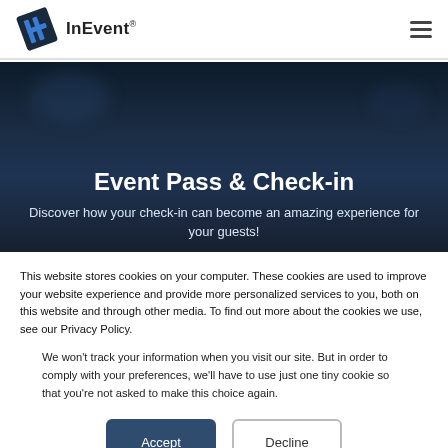InEvent®
[Figure (screenshot): InEvent logo — stylized M/N icon in blue and dark colors alongside InEvent® wordmark]
Event Pass & Check-in
Discover how your check-in can become an amazing experience for your guests!
This website stores cookies on your computer. These cookies are used to improve your website experience and provide more personalized services to you, both on this website and through other media. To find out more about the cookies we use, see our Privacy Policy.
We won't track your information when you visit our site. But in order to comply with your preferences, we'll have to use just one tiny cookie so that you're not asked to make this choice again.